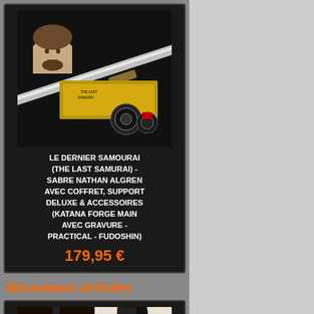[Figure (photo): Product photo of Le Dernier Samourai katana sword set with coffret and accessories]
LE DERNIER SAMOURAI (THE LAST SAMURAI) - SABRE NATHAN ALGREN AVEC COFFRET, SUPPORT DELUXE & ACCESSOIRES (KATANA FORGE MAIN AVEC GRAVURE - PRACTICAL - FUDOSHIN)
179,95 €
Nouveaux articles
[Figure (photo): Product photo of 300 movie King Leonidas official helmet alongside movie still]
300 - CASQUE OFFICIEL KING LEONIDAS